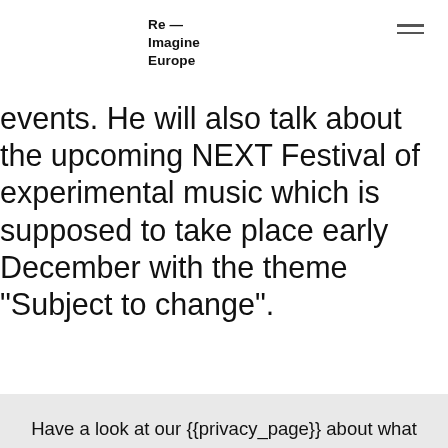Re — Imagine Europe
events. He will also talk about the upcoming NEXT Festival of experimental music which is supposed to take place early December with the theme “Subject to change”.
Have a look at our {{privacy_page}} about what information we collect and for what purpose.
Accept Cookies
Have a look at our Privacy Policy about what information we collect and for what purpose.
Accept Cookies
Disable Cookies
we collect and for what purpose.